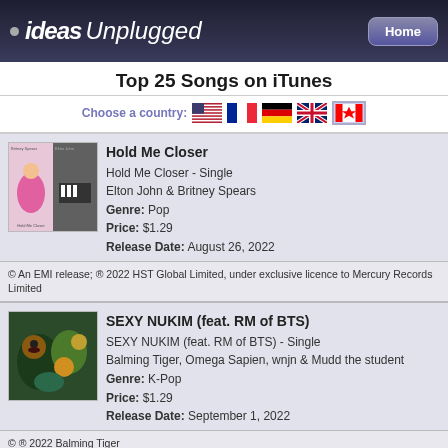ideas Unplugged | Home
Top 25 Songs on iTunes
Choose a country: [US flag] [France flag] [Germany flag] [UK flag] [Canada flag - selected]
[Figure (photo): Album art for Hold Me Closer by Britney Spears and Elton John]
Hold Me Closer
Hold Me Closer - Single
Elton John & Britney Spears
Genre: Pop
Price: $1.29
Release Date: August 26, 2022
© An EMI release; ℗ 2022 HST Global Limited, under exclusive licence to Mercury Records Limited
[Figure (photo): Album art for SEXY NUKIM by Balming Tiger]
SEXY NUKIM (feat. RM of BTS)
SEXY NUKIM (feat. RM of BTS) - Single
Balming Tiger, Omega Sapien, wnjn & Mudd the student
Genre: K-Pop
Price: $1.29
Release Date: September 1, 2022
© ℗ 2022 Balming Tiger
Flowers Need Rain